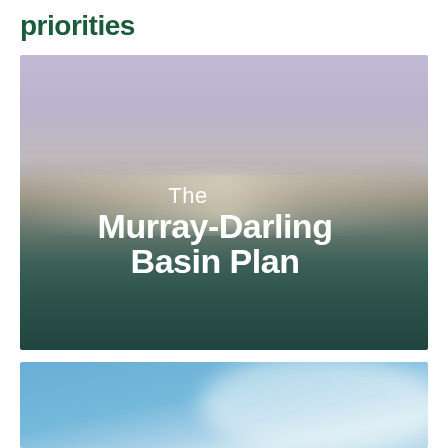priorities
[Figure (photo): Blurred landscape photo with gradient from lavender/purple sky at top transitioning through warm gray-green midtones to deep teal-green at bottom. White text overlay reads 'The Murray-Darling Basin Plan'.]
[Figure (photo): Blurred sky/water photo with light blue tones, partially visible at bottom of page.]